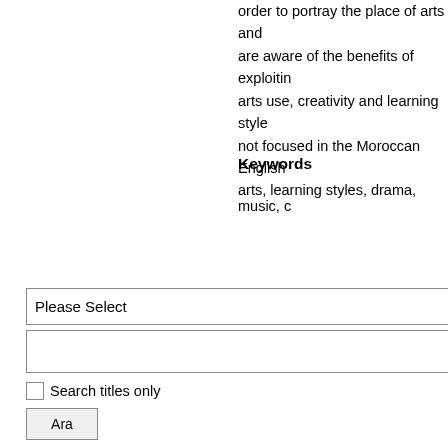order to portray the place of arts and are aware of the benefits of exploiting arts use, creativity and learning style not focused in the Moroccan English
Keywords
arts, learning styles, drama, music, c
[Figure (screenshot): Search UI widget with a 'Please Select' dropdown, a text input field, a 'Search titles only' checkbox, an 'Ara' button, and a results box below.]